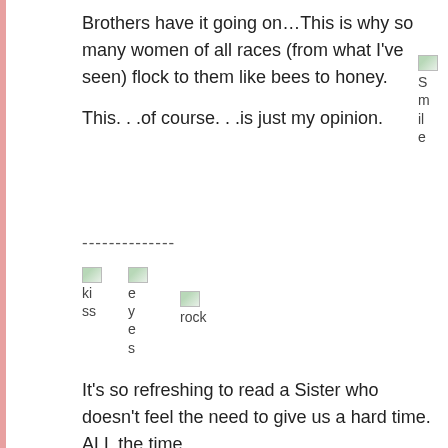Brothers have it going on...This is why so many women of all races (from what I've seen) flock to them like bees to honey.
This. . .of course. . .is just my opinion.
[Figure (illustration): Broken image placeholder labeled 'Smile' emoji]
--------------
[Figure (illustration): Broken image placeholders for 'kiss', 'eyes', and 'rock' emojis]
It's so refreshing to read a Sister who doesn't feel the need to give us a hard time. ALL the time.